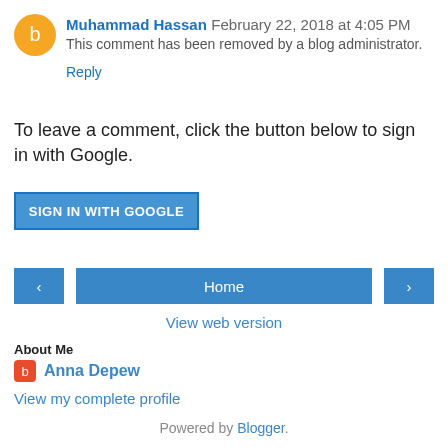Muhammad Hassan  February 22, 2018 at 4:05 PM
This comment has been removed by a blog administrator.
Reply
To leave a comment, click the button below to sign in with Google.
[Figure (other): SIGN IN WITH GOOGLE button (blue rectangle)]
[Figure (other): Navigation bar with left arrow, Home button, and right arrow]
View web version
About Me
Anna Depew
View my complete profile
Powered by Blogger.